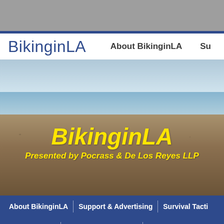[Figure (screenshot): Top gray decorative bar of website]
BikinginLA
About BikinginLA  Su
[Figure (photo): Beach/coastal scene with sky, water, and sandy shore. Overlaid with yellow italic cursive text: BikinginLA, Presented by Pocrass & De Los Reyes LLP]
About BikinginLA
Support & Advertising
Survival Tacti...
Organizations
Bike Shops & Co-ops
Register Your Bike...
The 7th Annual BikinginLA Holiday Fund Drive!
Tag Archive for Albert Arnold